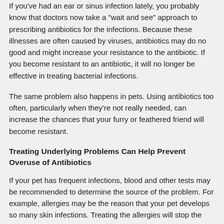If you've had an ear or sinus infection lately, you probably know that doctors now take a "wait and see" approach to prescribing antibiotics for the infections. Because these illnesses are often caused by viruses, antibiotics may do no good and might increase your resistance to the antibiotic. If you become resistant to an antibiotic, it will no longer be effective in treating bacterial infections.
The same problem also happens in pets. Using antibiotics too often, particularly when they're not really needed, can increase the chances that your furry or feathered friend will become resistant.
Treating Underlying Problems Can Help Prevent Overuse of Antibiotics
If your pet has frequent infections, blood and other tests may be recommended to determine the source of the problem. For example, allergies may be the reason that your pet develops so many skin infections. Treating the allergies will stop the infections and reduce your furry friend's reliance on antibiotics.